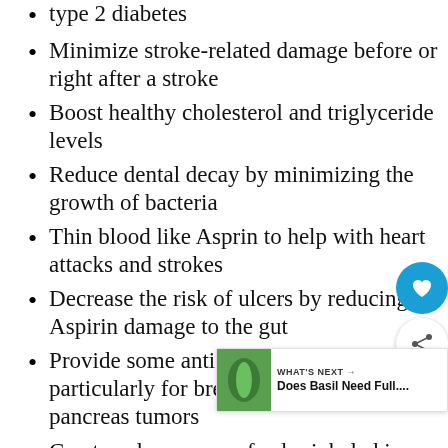type 2 diabetes
Minimize stroke-related damage before or right after a stroke
Boost healthy cholesterol and triglyceride levels
Reduce dental decay by minimizing the growth of bacteria
Thin blood like Asprin to help with heart attacks and strokes
Decrease the risk of ulcers by reducing Aspirin damage to the gut
Provide some anticancer benefits, particularly for breast, colon, and pancreas tumors
Create a deep sense of calm inhaled in aromatherapy